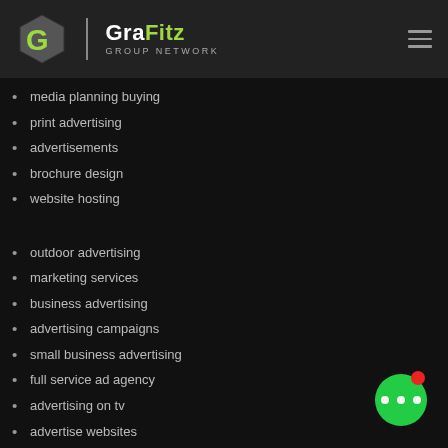[Figure (logo): GraFitz Group Network logo with stylized G hexagon and text]
media planning buying
print advertising
advertisements
brochure design
website hosting
outdoor advertising
marketing services
business advertising
advertising campaigns
small business advertising
full service ad agency
advertising on tv
advertise websites
magazine advertising
direct marketing campaigns
poster design
annual report design
[Figure (illustration): Green circular chat/messaging button with red notification dot in bottom right corner]